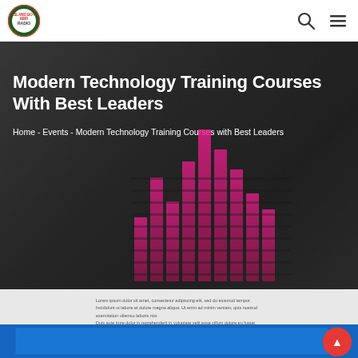Island Boy Radio — navigation header with logo, search icon, and menu icon
Modern Technology Training Courses With Best Leaders
Home - Events - Modern Technology Training Courses with Best Leaders
[Figure (illustration): Animated equalizer bars in pink/magenta overlaid on dark hero image of audio mixing equipment]
Small blurred body text lines (unreadable) on grey background
[Figure (photo): Blue strip at bottom with partial image and red circular badge/button]